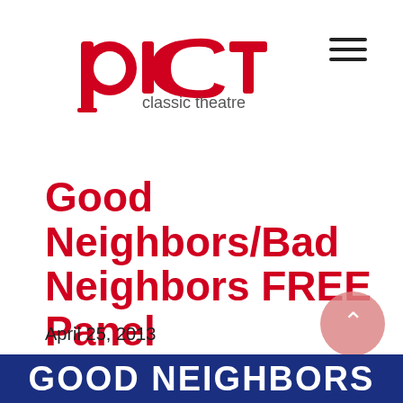[Figure (logo): PICT Classic Theatre logo in red with stylized lettering]
Good Neighbors/Bad Neighbors FREE Panel Discussion
April 25, 2013
[Figure (illustration): Bottom banner with blue background and white bold text reading GOOD NEIGHBORS]